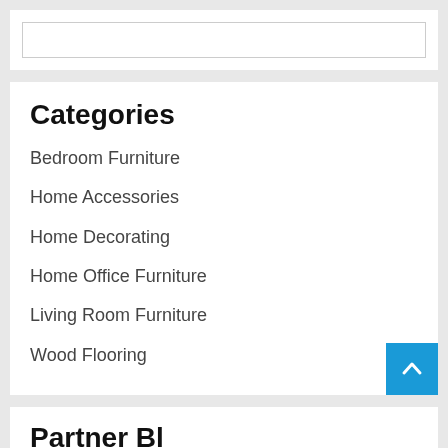[Figure (other): Search input box, empty, with border]
Categories
Bedroom Furniture
Home Accessories
Home Decorating
Home Office Furniture
Living Room Furniture
Wood Flooring
Partner Bl